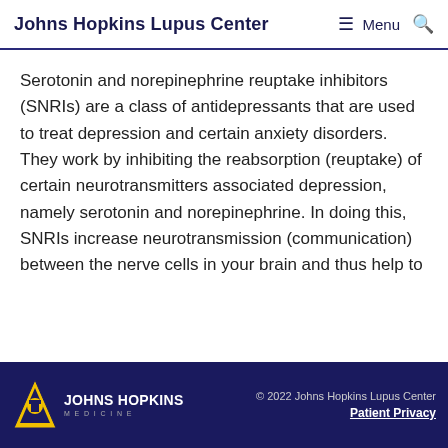Johns Hopkins Lupus Center  Menu
Serotonin and norepinephrine reuptake inhibitors (SNRIs) are a class of antidepressants that are used to treat depression and certain anxiety disorders. They work by inhibiting the reabsorption (reuptake) of certain neurotransmitters associated depression, namely serotonin and norepinephrine. In doing this, SNRIs increase neurotransmission (communication) between the nerve cells in your brain and thus help to
© 2022 Johns Hopkins Lupus Center  Patient Privacy